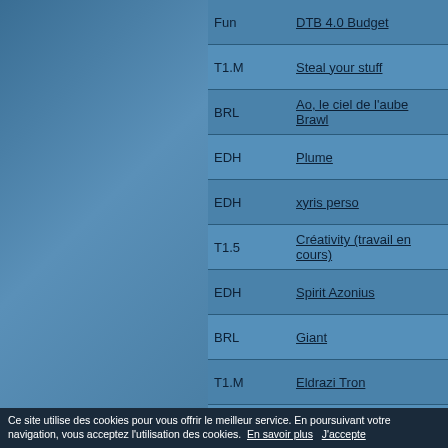| Format | Deck |
| --- | --- |
| Fun | DTB 4.0 Budget |
| T1.M | Steal your stuff |
| BRL | Ao, le ciel de l'aube Brawl |
| EDH | Plume |
| EDH | xyris perso |
| T1.5 | Créativity (travail en cours) |
| EDH | Spirit Azonius |
| BRL | Giant |
| T1.M | Eldrazi Tron |
| T1.M | Izzet tempo |
| PPM | Azonius Evoke |
| BRL | R/B Hidetsugu |
| T2 | Ninja |
| PPM | Turbo Fog |
| EDH | Ghalta |
| PSM | Landfall |
| T1.M | Aura 2.0 |
| T1.M | Farfadet |
Ce site utilise des cookies pour vous offrir le meilleur service. En poursuivant votre navigation, vous acceptez l'utilisation des cookies. En savoir plus J'accepte